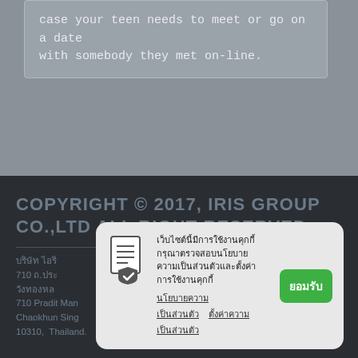case your teen needs to meet or go on a date with somebody they met on-line.
< Previous Post
COPYRIGHT © 2017, IRIS GROUP CO.,LTD ALL RIGHT RESERVED.
บริษัท ไอริส กรุ๊ป จำกัด 710 ถ.ประดิษฐ์มนูธรรม แขวงวังทองหลาง เขตวังทองหลาง กรุงเทพ 10310 710 Pradit Manootham Road, Khlong Chaokhun Sing, Wang Thonglang, Bangkok, 10310, Thailand.
เว็บไซต์นี้มีการใช้งานคุกกี้ กรุณาตรวจสอบนโยบายความเป็นส่วนตัวและตั้งค่าการใช้งานคุกกี้ นโยบายความเป็นส่วนตัว ตั้งค่าความเป็นส่วนตัว ยอมรับ